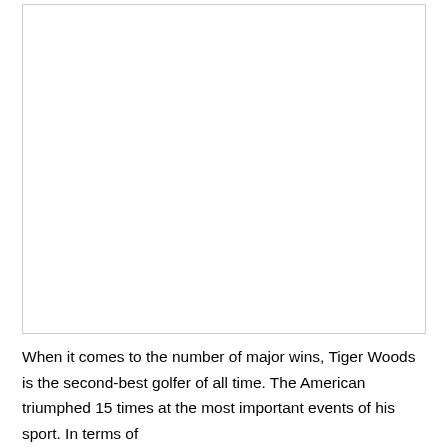[Figure (photo): Large white/blank image placeholder with a light gray border]
When it comes to the number of major wins, Tiger Woods is the second-best golfer of all time. The American triumphed 15 times at the most important events of his sport. In terms of